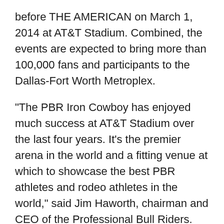before THE AMERICAN on March 1, 2014 at AT&T Stadium. Combined, the events are expected to bring more than 100,000 fans and participants to the Dallas-Fort Worth Metroplex.
"The PBR Iron Cowboy has enjoyed much success at AT&T Stadium over the last four years. It's the premier arena in the world and a fitting venue at which to showcase the best PBR athletes and rodeo athletes in the world," said Jim Haworth, chairman and CEO of the Professional Bull Riders. "March 1-2 has the potential to be the most significant weekend in the history of the PBR and rodeo.
"The Iron Cowboy V is the only bracketed-style event on the Built Ford Tough Series and pits the cowboys in a head-to-head competition with not only the bulls, but